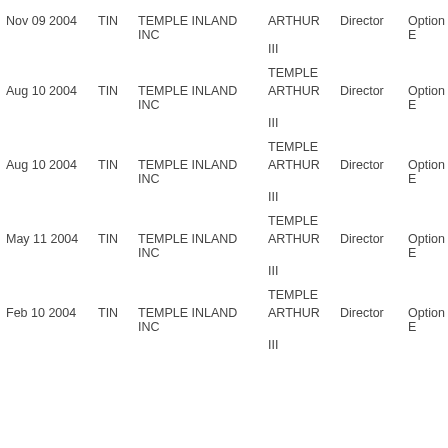| Date | Ticker | Company | Name | Role | Type |
| --- | --- | --- | --- | --- | --- |
| Nov 09 2004 | TIN | TEMPLE INLAND INC | TEMPLE ARTHUR III | Director | Option E |
| Aug 10 2004 | TIN | TEMPLE INLAND INC | TEMPLE ARTHUR III | Director | Option E |
| Aug 10 2004 | TIN | TEMPLE INLAND INC | TEMPLE ARTHUR III | Director | Option E |
| May 11 2004 | TIN | TEMPLE INLAND INC | TEMPLE ARTHUR III | Director | Option E |
| Feb 10 2004 | TIN | TEMPLE INLAND INC | TEMPLE ARTHUR III | Director | Option E |